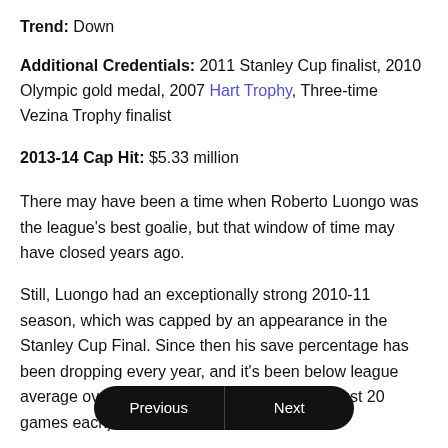Trend: Down
Additional Credentials: 2011 Stanley Cup finalist, 2010 Olympic gold medal, 2007 Hart Trophy, Three-time Vezina Trophy finalist
2013-14 Cap Hit: $5.33 million
There may have been a time when Roberto Luongo was the league's best goalie, but that window of time may have closed years ago.
Still, Luongo had an exceptionally strong 2010-11 season, which was capped by an appearance in the Stanley Cup Final. Since then his save percentage has been dropping every year, and it's been below league average over the past two seasons (albeit in just 20 games each).